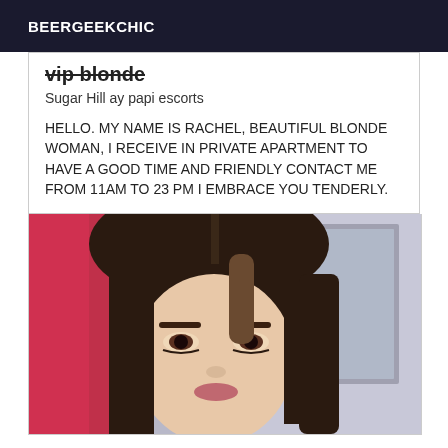BEERGEEKCHIC
vip blonde
Sugar Hill ay papi escorts
HELLO. MY NAME IS RACHEL, BEAUTIFUL BLONDE WOMAN, I RECEIVE IN PRIVATE APARTMENT TO HAVE A GOOD TIME AND FRIENDLY CONTACT ME FROM 11AM TO 23 PM I EMBRACE YOU TENDERLY.
[Figure (photo): Close-up photo of a dark-haired woman with straight hair, wearing makeup, against a background with pink/red curtains and a mirror or TV visible.]